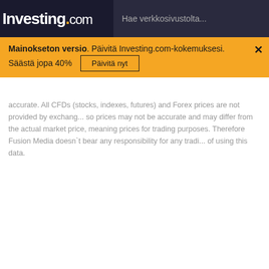Investing.com — Hae verkkosivustolta...
Mainokseton versio. Päivitä Investing.com-kokemuksesi. Säästä jopa 40% — Päivitä nyt ×
accurate. All CFDs (stocks, indexes, futures) and Forex prices are not provided by exchanges so prices may not be accurate and may differ from the actual market price, meaning prices for trading purposes. Therefore Fusion Media doesn`t bear any responsibility for any trading of using this data.